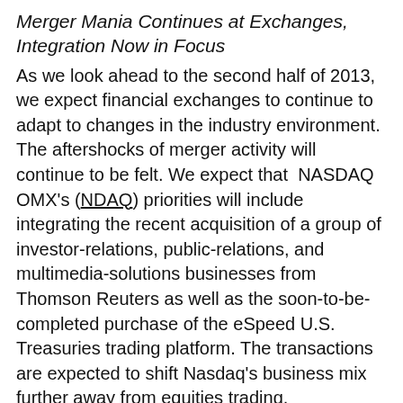Merger Mania Continues at Exchanges, Integration Now in Focus
As we look ahead to the second half of 2013, we expect financial exchanges to continue to adapt to changes in the industry environment. The aftershocks of merger activity will continue to be felt. We expect that NASDAQ OMX's (NDAQ) priorities will include integrating the recent acquisition of a group of investor-relations, public-relations, and multimedia-solutions businesses from Thomson Reuters as well as the soon-to-be-completed purchase of the eSpeed U.S. Treasuries trading platform. The transactions are expected to shift Nasdaq's business mix further away from equities trading.
NYSE Euronext's (NYX) acquisition by IntercontinentalExchange (ICE) is on deck to be completed, likely before the end of the year. As the deal